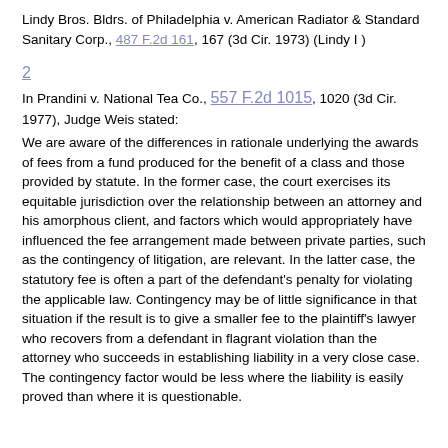Lindy Bros. Bldrs. of Philadelphia v. American Radiator & Standard Sanitary Corp., 487 F.2d 161, 167 (3d Cir. 1973) (Lindy I)
2
In Prandini v. National Tea Co., 557 F.2d 1015, 1020 (3d Cir. 1977), Judge Weis stated:
We are aware of the differences in rationale underlying the awards of fees from a fund produced for the benefit of a class and those provided by statute. In the former case, the court exercises its equitable jurisdiction over the relationship between an attorney and his amorphous client, and factors which would appropriately have influenced the fee arrangement made between private parties, such as the contingency of litigation, are relevant. In the latter case, the statutory fee is often a part of the defendant's penalty for violating the applicable law. Contingency may be of little significance in that situation if the result is to give a smaller fee to the plaintiff's lawyer who recovers from a defendant in flagrant violation than the attorney who succeeds in establishing liability in a very close case. The contingency factor would be less where the liability is easily proved than where it is questionable.